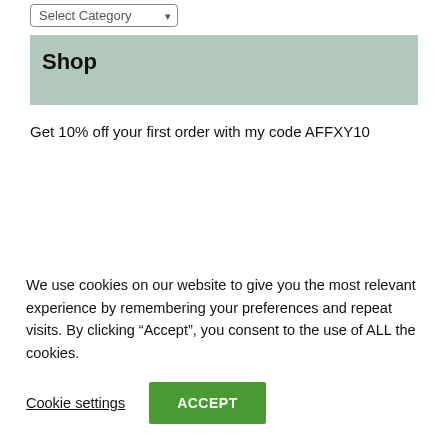[Figure (other): Dropdown selector showing 'Select Category' with a border and dropdown arrow]
Shop
Get 10% off your first order with my code AFFXY10
We use cookies on our website to give you the most relevant experience by remembering your preferences and repeat visits. By clicking “Accept”, you consent to the use of ALL the cookies.
Cookie settings
ACCEPT